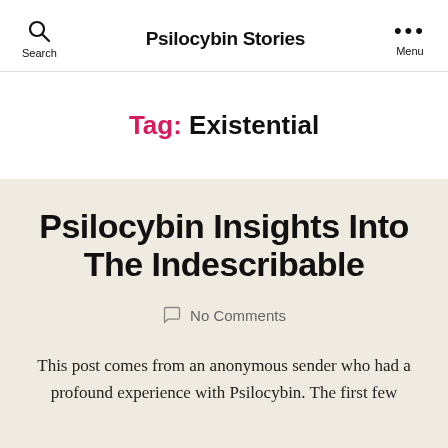Psilocybin Stories
Tag: Existential
Psilocybin Insights Into The Indescribable
No Comments
This post comes from an anonymous sender who had a profound experience with Psilocybin. The first few